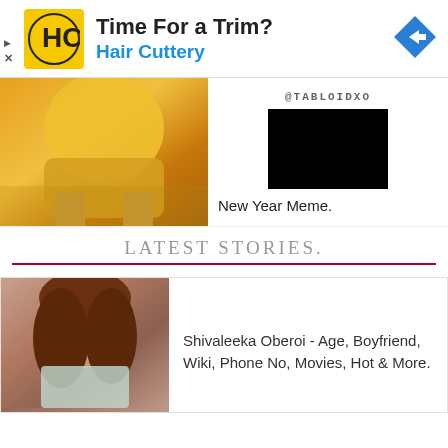[Figure (infographic): Hair Cuttery advertisement banner with HC logo in yellow square, text 'Time For a Trim?' and 'Hair Cuttery' in blue, and a blue diamond direction arrow icon on the right]
[Figure (photo): Lower portion of a figure in orange/yellow traditional costume, possibly from a movie or show]
@TABLOIDXO
[Figure (photo): Dark/black image thumbnail]
New Year Meme.
LATEST STORIES.
[Figure (photo): Photo of Shivaleeka Oberoi, a woman with long brown hair in a light blue outfit]
Shivaleeka Oberoi - Age, Boyfriend, Wiki, Phone No, Movies, Hot & More.